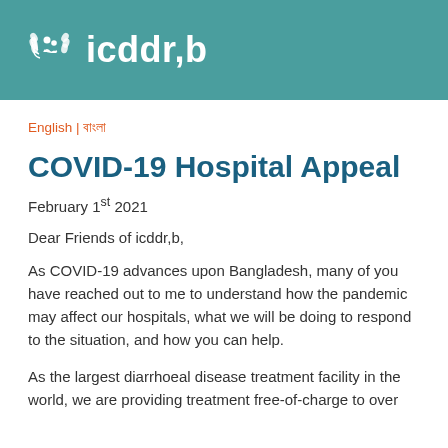icddr,b
English | বাংলা
COVID-19 Hospital Appeal
February 1st 2021
Dear Friends of icddr,b,
As COVID-19 advances upon Bangladesh, many of you have reached out to me to understand how the pandemic may affect our hospitals, what we will be doing to respond to the situation, and how you can help.
As the largest diarrhoeal disease treatment facility in the world, we are providing treatment free-of-charge to over